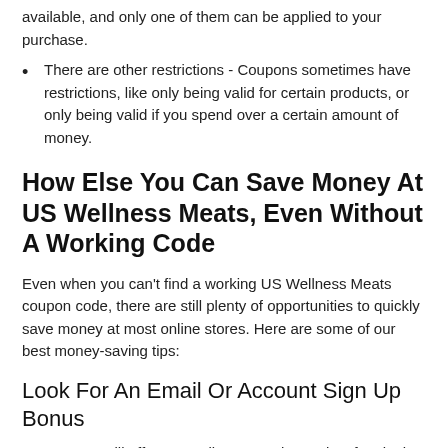available, and only one of them can be applied to your purchase.
There are other restrictions - Coupons sometimes have restrictions, like only being valid for certain products, or only being valid if you spend over a certain amount of money.
How Else You Can Save Money At US Wellness Meats, Even Without A Working Code
Even when you can't find a working US Wellness Meats coupon code, there are still plenty of opportunities to quickly save money at most online stores. Here are some of our best money-saving tips:
Look For An Email Or Account Sign Up Bonus
Most stores will offer you a discount or bonus just for signing